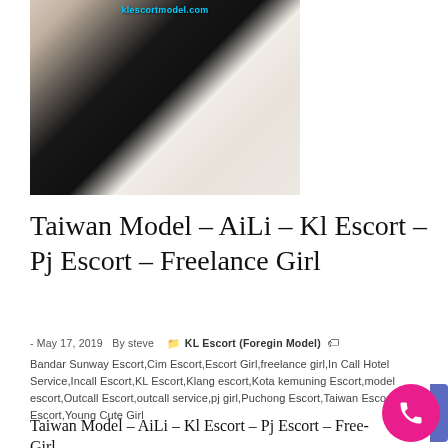[Figure (photo): Photo of a woman with watermark 'klescortmodel.com' at top, wearing black top and white garment]
Taiwan Model – AiLi – Kl Escort – Pj Escort – Freelance Girl
- May 17, 2019  By steve  KL Escort (Foregin Model)
Bandar Sunway Escort,Cim Escort,Escort Girl,freelance girl,In Call Hotel Service,Incall Escort,KL Escort,Klang escort,Kota kemuning Escort,model escort,Outcall Escort,outcall service,pj girl,Puchong Escort,Taiwan Escort,USJ Escort,Young Cute Girl
Taiwan Model – AiLi – Kl Escort – Pj Escort – Freelance Girl